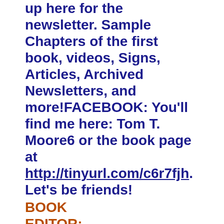up here for the newsletter. Sample Chapters of the first book, videos, Signs, Articles, Archived Newsletters, and more!FACEBOOK: You'll find me here: Tom T. Moore6 or the book page at http://tinyurl.com/c6r7fjh .  Let's be friends!
BOOK EDITOR: